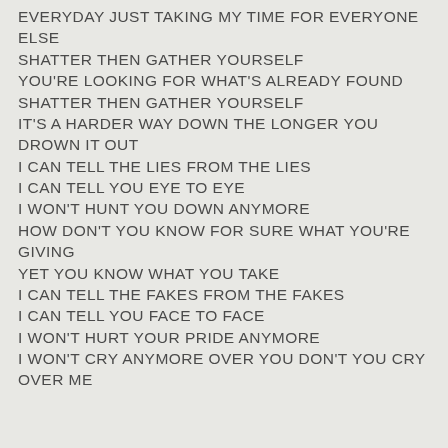EVERYDAY JUST TAKING MY TIME FOR EVERYONE ELSE
SHATTER THEN GATHER YOURSELF
YOU'RE LOOKING FOR WHAT'S ALREADY FOUND
SHATTER THEN GATHER YOURSELF
IT'S A HARDER WAY DOWN THE LONGER YOU DROWN IT OUT
I CAN TELL THE LIES FROM THE LIES
I CAN TELL YOU EYE TO EYE
I WON'T HUNT YOU DOWN ANYMORE
HOW DON'T YOU KNOW FOR SURE WHAT YOU'RE GIVING
YET YOU KNOW WHAT YOU TAKE
I CAN TELL THE FAKES FROM THE FAKES
I CAN TELL YOU FACE TO FACE
I WON'T HURT YOUR PRIDE ANYMORE
I WON'T CRY ANYMORE OVER YOU DON'T YOU CRY OVER ME